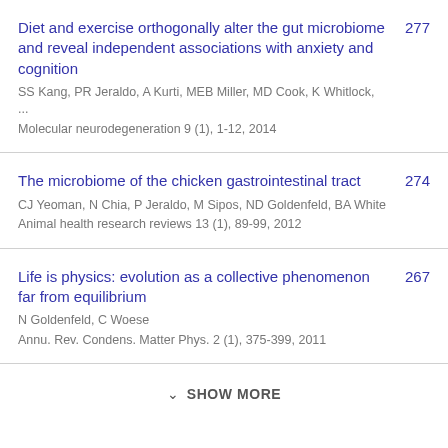Diet and exercise orthogonally alter the gut microbiome and reveal independent associations with anxiety and cognition | SS Kang, PR Jeraldo, A Kurti, MEB Miller, MD Cook, K Whitlock, ... | Molecular neurodegeneration 9 (1), 1-12, 2014 | 277
The microbiome of the chicken gastrointestinal tract | CJ Yeoman, N Chia, P Jeraldo, M Sipos, ND Goldenfeld, BA White | Animal health research reviews 13 (1), 89-99, 2012 | 274
Life is physics: evolution as a collective phenomenon far from equilibrium | N Goldenfeld, C Woese | Annu. Rev. Condens. Matter Phys. 2 (1), 375-399, 2011 | 267
SHOW MORE